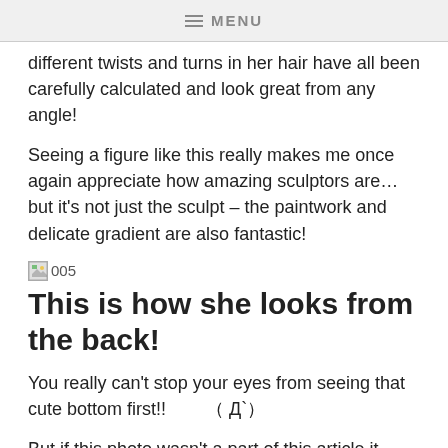MENU
different twists and turns in her hair have all been carefully calculated and look great from any angle!
Seeing a figure like this really makes me once again appreciate how amazing sculptors are... but it's not just the sculpt – the paintwork and delicate gradient are also fantastic!
[Figure (other): Broken image placeholder labeled 005]
This is how she looks from the back!
You really can't stop your eyes from seeing that cute bottom first!!        （ Д`)
But if this photo wasn't a part of this article it simply wouldn't count as a full review! She it really is just so beautiful... even from a girl's point of view that hipline is perfect!
Not to mention that the way it has been sculpted and